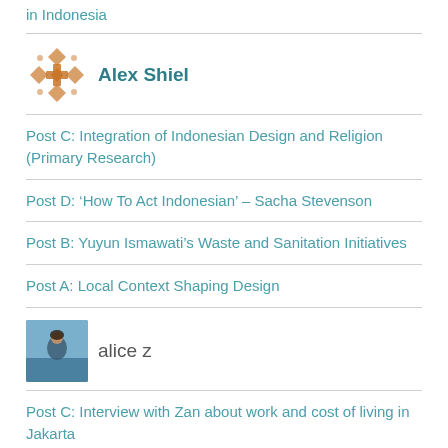in Indonesia
Alex Shiel
Post C: Integration of Indonesian Design and Religion (Primary Research)
Post D: 'How To Act Indonesian' – Sacha Stevenson
Post B: Yuyun Ismawati's Waste and Sanitation Initiatives
Post A: Local Context Shaping Design
alice z
Post C: Interview with Zan about work and cost of living in Jakarta